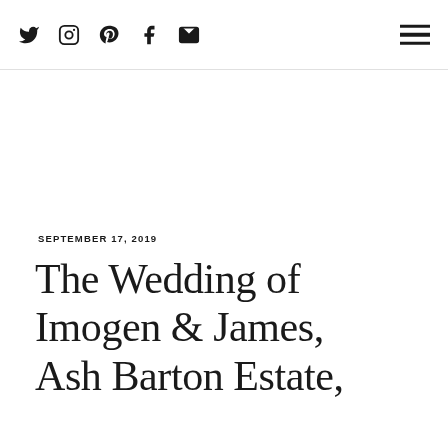Social icons (Twitter, Instagram, Pinterest, Facebook, Email) and hamburger menu
SEPTEMBER 17, 2019
The Wedding of Imogen & James, Ash Barton Estate,
...